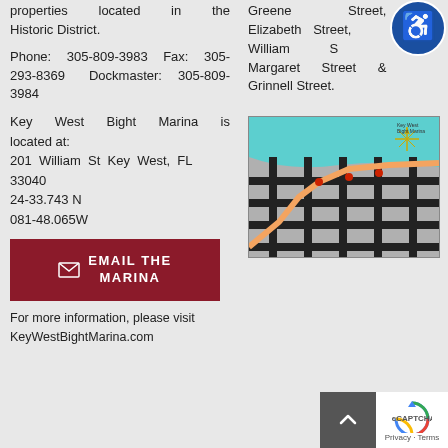properties located in the Historic District.
Phone: 305-809-3983 Fax: 305-293-8369 Dockmaster: 305-809-3984
Key West Bight Marina is located at:
201 William St Key West, FL 33040
24-33.743 N
081-48.065W
[Figure (other): Email the Marina button - dark red/maroon rectangular button with envelope icon and text EMAIL THE MARINA]
For more information, please visit KeyWestBightMarina.com
Greene Street, Elizabeth Street, William Street, Margaret Street & Grinnell Street.
[Figure (map): Street map of Key West Bight Marina area showing grid of streets with water (teal/cyan) at top, streets in gray and black, with orange highlighted route and red markers.]
[Figure (other): Accessibility icon - blue circle with wheelchair user symbol]
[Figure (other): reCAPTCHA badge with Privacy and Terms links]
[Figure (other): Scroll to top button - dark gray square with upward chevron arrow]